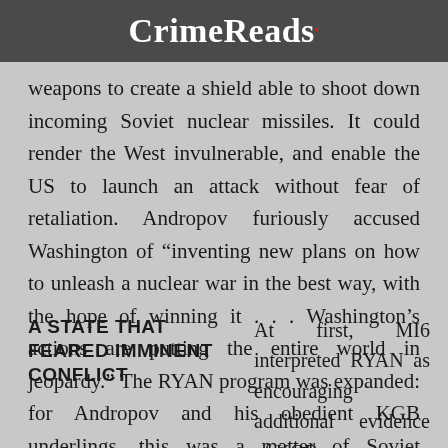CrimeReads
weapons to create a shield able to shoot down incoming Soviet nuclear missiles. It could render the West invulnerable, and enable the US to launch an attack without fear of retaliation. Andropov furiously accused Washington of “inventing new plans on how to unleash a nuclear war in the best way, with the hope of winning it . . . Washington’s actions are putting the entire world in jeopardy.” The RYAN program was expanded: for Andropov and his obedient KGB underlings, this was a matter of Soviet survival.
A STATE THAT FEARED IMMINENT CONFLICT
At first, MI6 interpreted RYAN as encouraging additional evidence of KGB